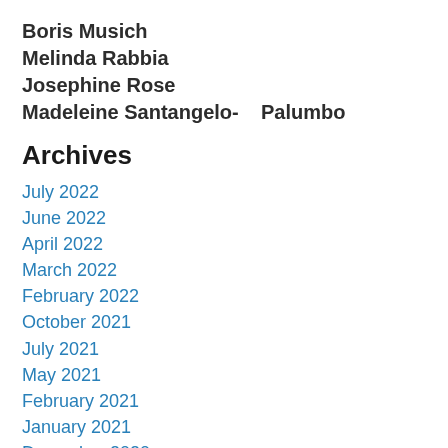Boris Musich
Melinda Rabbia
Josephine Rose
Madeleine Santangelo-    Palumbo
Archives
July 2022
June 2022
April 2022
March 2022
February 2022
October 2021
July 2021
May 2021
February 2021
January 2021
December 2020
October 2020
July 2020
June 2020